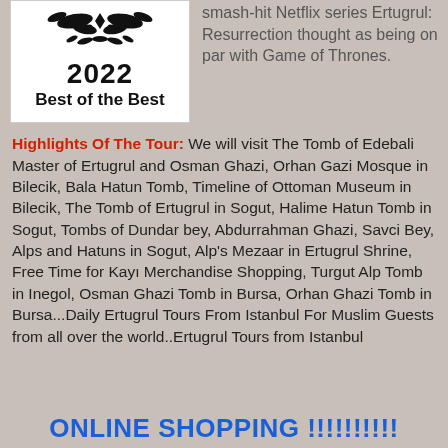[Figure (logo): 2022 Best of the Best award badge with ornamental floral design on white background]
smash-hit Netflix series Ertugrul: Resurrection thought as being on par with Game of Thrones.
Highlights Of The Tour: We will visit The Tomb of Edebali Master of Ertugrul and Osman Ghazi, Orhan Gazi Mosque in Bilecik, Bala Hatun Tomb, Timeline of Ottoman Museum in Bilecik, The Tomb of Ertugrul in Sogut, Halime Hatun Tomb in Sogut, Tombs of Dundar bey, Abdurrahman Ghazi, Savci Bey, Alps and Hatuns in Sogut, Alp's Mezaar in Ertugrul Shrine, Free Time for Kayı Merchandise Shopping, Turgut Alp Tomb in Inegol, Osman Ghazi Tomb in Bursa, Orhan Ghazi Tomb in Bursa...Daily Ertugrul Tours From Istanbul For Muslim Guests from all over the world..Ertugrul Tours from Istanbul
ONLINE SHOPPING !!!!!!!!!!